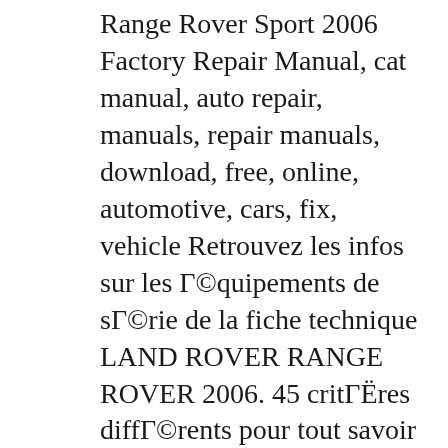Range Rover Sport 2006 Factory Repair Manual, cat manual, auto repair, manuals, repair manuals, download, free, online, automotive, cars, fix, vehicle Retrouvez les infos sur les Г©quipements de sГ©rie de la fiche technique LAND ROVER RANGE ROVER 2006. 45 critГЁres diffГ©rents pour tout savoir sur LAND ROVER RANGE ROVER.
GUIDES & MANUALS. VIEW LAND ROVER VIDEO GUIDES AND DOWNLOAD MANUALS FOR THE VEHICLES. NOT ALL THE FEATURES DESCRIBED ARE STANDARD FOR ALL VEHICLES. BROWSE MANUALS. GET DIRECTIONS. RANGE ROVER. WIPERS OPERATION. Range Rover incorporates enabling features for all on the range for which the details all...